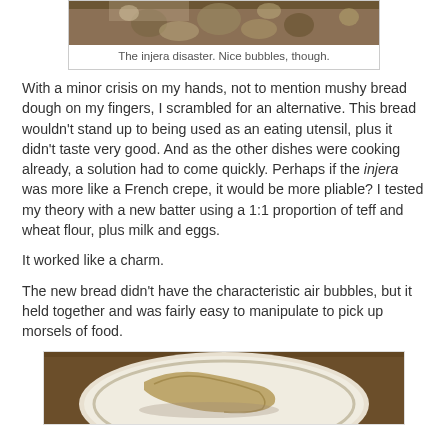[Figure (photo): Top portion of a photo showing injera bread with bubbles on a surface, partially cropped at top]
The injera disaster. Nice bubbles, though.
With a minor crisis on my hands, not to mention mushy bread dough on my fingers, I scrambled for an alternative. This bread wouldn't stand up to being used as an eating utensil, plus it didn't taste very good. And as the other dishes were cooking already, a solution had to come quickly. Perhaps if the injera was more like a French crepe, it would be more pliable? I tested my theory with a new batter using a 1:1 proportion of teff and wheat flour, plus milk and eggs.
It worked like a charm.
The new bread didn't have the characteristic air bubbles, but it held together and was fairly easy to manipulate to pick up morsels of food.
[Figure (photo): Photo of new injera-style crepe bread on a decorative plate, folded, shown on a wooden surface]